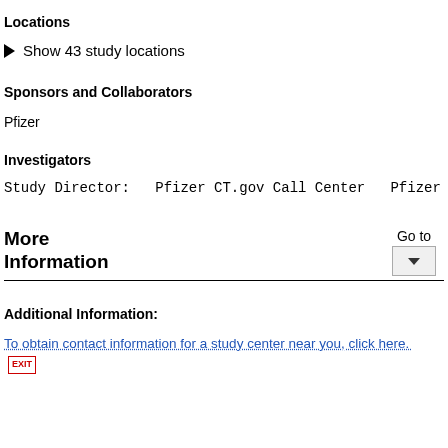Locations
Show 43 study locations
Sponsors and Collaborators
Pfizer
Investigators
Study Director:    Pfizer CT.gov Call Center    Pfizer
More Information
Go to
Additional Information:
To obtain contact information for a study center near you, click here.